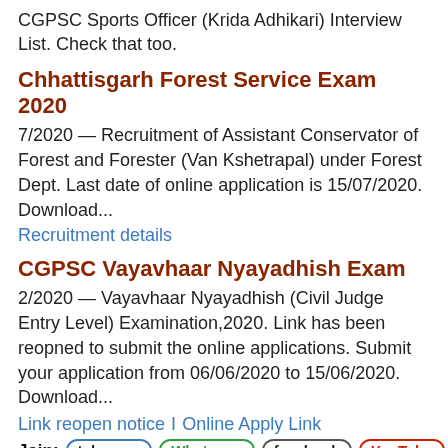CGPSC Sports Officer (Krida Adhikari) Interview List. Check that too.
Chhattisgarh Forest Service Exam 2020
7/2020 — Recruitment of Assistant Conservator of Forest and Forester (Van Kshetrapal) under Forest Dept. Last date of online application is 15/07/2020. Download...
Recruitment details
CGPSC Vayavhaar Nyayadhish Exam
2/2020 — Vayavhaar Nyayadhish (Civil Judge Entry Level) Examination,2020. Link has been reopned to submit the online applications. Submit your application from 06/06/2020 to 15/06/2020. Download...
Link reopen notice | Online Apply Link
Join: telegram Whatsapp facebook YouTube